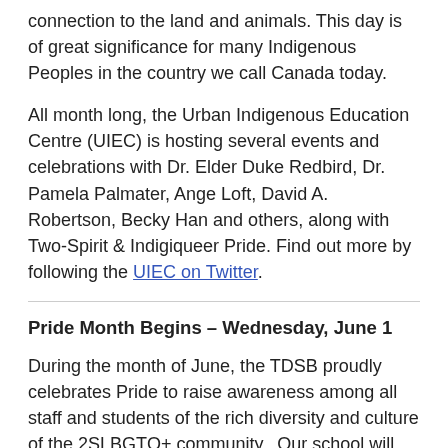connection to the land and animals. This day is of great significance for many Indigenous Peoples in the country we call Canada today.
All month long, the Urban Indigenous Education Centre (UIEC) is hosting several events and celebrations with Dr. Elder Duke Redbird, Dr. Pamela Palmater, Ange Loft, David A. Robertson, Becky Han and others, along with Two-Spirit & Indigiqueer Pride. Find out more by following the UIEC on Twitter.
Pride Month Begins – Wednesday, June 1
During the month of June, the TDSB proudly celebrates Pride to raise awareness among all staff and students of the rich diversity and culture of the 2SLBGTQ+ community.  Our school will